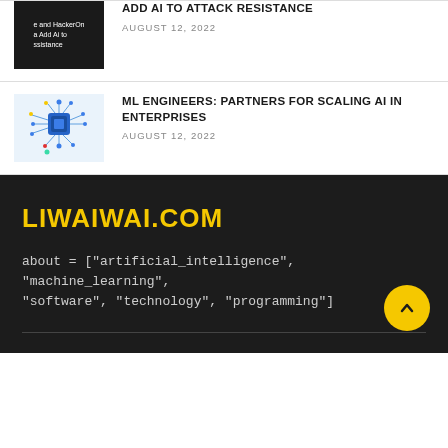[Figure (photo): Dark thumbnail with text about HackerOne and AI attack resistance]
ADD AI TO ATTACK RESISTANCE
AUGUST 12, 2022
[Figure (illustration): Blue network/AI chip illustration on light background]
ML ENGINEERS: PARTNERS FOR SCALING AI IN ENTERPRISES
AUGUST 12, 2022
LIWAIWAI.COM
about = ["artificial_intelligence", "machine_learning", "software", "technology", "programming"]